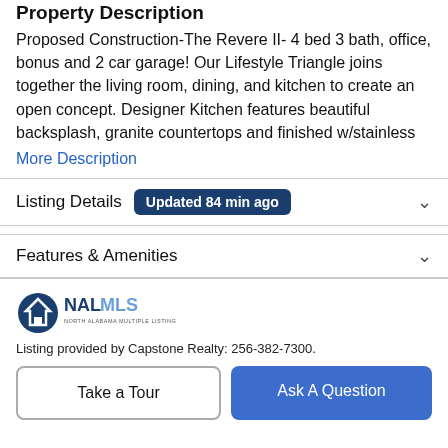Property Description
Proposed Construction-The Revere II- 4 bed 3 bath, office, bonus and 2 car garage! Our Lifestyle Triangle joins together the living room, dining, and kitchen to create an open concept. Designer Kitchen features beautiful backsplash, granite countertops and finished w/stainless
More Description
Listing Details  Updated 84 min ago
Features & Amenities
[Figure (logo): NALMLS - North Alabama Multiple Listing Service logo]
Listing provided by Capstone Realty: 256-382-7300.
Take a Tour
Ask A Question